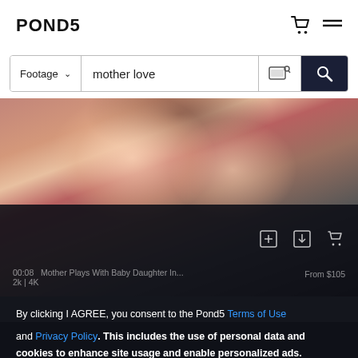POND5
Footage  mother love
[Figure (screenshot): Stock footage website Pond5 showing search results for 'mother love' with a photo of smiling women, overlaid with a cookie consent dialog. Video clip info: 00:08 Mother Plays With Baby Daughter In... From $105, 2k | 4K]
By clicking I AGREE, you consent to the Pond5 Terms of Use and Privacy Policy. This includes the use of personal data and cookies to enhance site usage and enable personalized ads. See our Policy to change cookie preferences on your device.
I AGREE